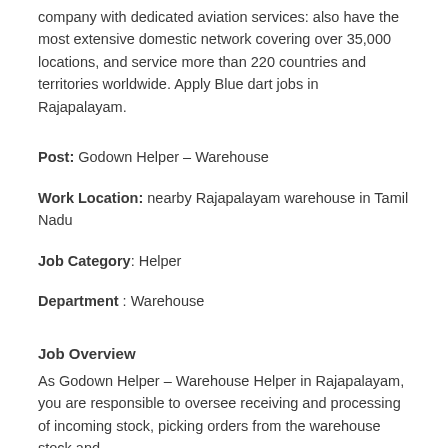company with dedicated aviation services: also have the most extensive domestic network covering over 35,000 locations, and service more than 220 countries and territories worldwide. Apply Blue dart jobs in Rajapalayam.
Post: Godown Helper – Warehouse
Work Location: nearby Rajapalayam warehouse in Tamil Nadu
Job Category: Helper
Department : Warehouse
Job Overview
As Godown Helper – Warehouse Helper in Rajapalayam, you are responsible to oversee receiving and processing of incoming stock, picking orders from the warehouse stock and